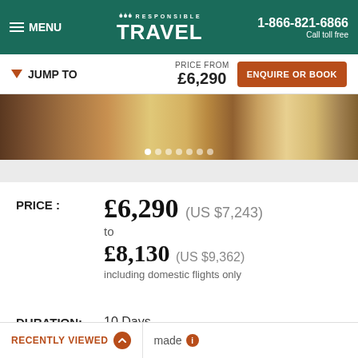MENU | RESPONSIBLE TRAVEL | 1-866-821-6866 Call toll free
JUMP TO | PRICE FROM £6,290 | ENQUIRE OR BOOK
[Figure (photo): Hero image of travel scene with luggage and outdoor setting]
PRICE : £6,290 (US $7,243) to £8,130 (US $9,362) including domestic flights only
DURATION: 10 Days
RECENTLY VIEWED | made